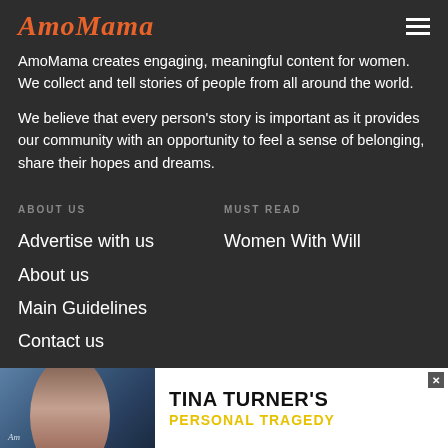AmoMama
AmoMama creates engaging, meaningful content for women. We collect and tell stories of people from all around the world.
We believe that every person's story is important as it provides our community with an opportunity to feel a sense of belonging, share their hopes and dreams.
ABOUT US
Advertise with us
About us
Main Guidelines
Contact us
MUST READ
Women With Will
INFORMATION
[Figure (screenshot): Advertisement banner: Tina Turner's Personal Tragedy with photo of a woman]